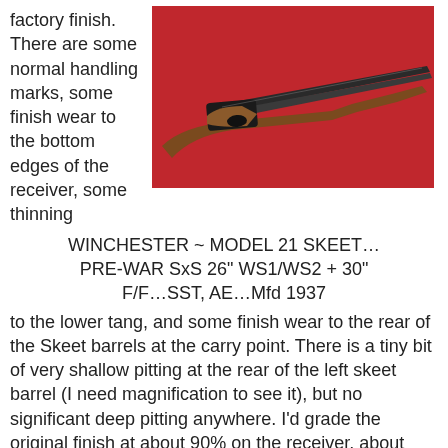factory finish. There are some normal handling marks, some finish wear to the bottom edges of the receiver, some thinning
[Figure (photo): Photo of a Winchester Model 21 shotgun on a red background, showing the receiver and barrels from the side.]
WINCHESTER ~ MODEL 21 SKEET… PRE-WAR SxS 26" WS1/WS2 + 30" F/F…SST, AE…Mfd 1937
to the lower tang, and some finish wear to the rear of the Skeet barrels at the carry point. There is a tiny bit of very shallow pitting at the rear of the left skeet barrel (I need magnification to see it), but no significant deep pitting anywhere. I'd grade the original finish at about 90% on the receiver, about 90% on the skeet barrels, and about 95% on the full choke barrels. The stocks are in very good shape and are free of cracks, chips, or repairs. There are some normal handling marks, mostly to the left side and bottom of